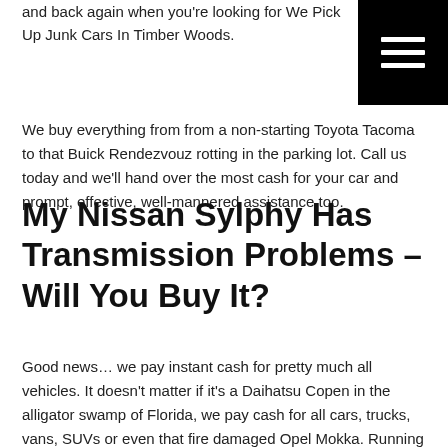and back again when you're looking for We Pick Up Junk Cars In Timber Woods.
[Figure (other): Hamburger menu icon — three white horizontal lines on black background]
We buy everything from from a non-starting Toyota Tacoma to that Buick Rendezvouz rotting in the parking lot. Call us today and we'll hand over the most cash for your car and prompt, effective, well-mannered assistance too.
My Nissan Sylphy Has Transmission Problems – Will You Buy It?
Good news… we pay instant cash for pretty much all vehicles. It doesn't matter if it's a Daihatsu Copen in the alligator swamp of Florida, we pay cash for all cars, trucks, vans, SUVs or even that fire damaged Opel Mokka. Running or not, we'll give you the best quote for it. From New Port Richey East to Los Prados, we're your local area car buyer.